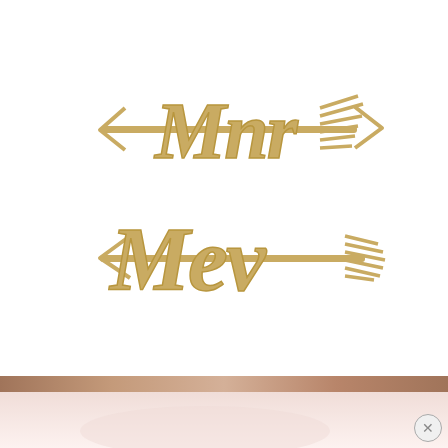[Figure (photo): Wooden laser-cut decorative signs reading 'Mnr' and 'Mev' (Afrikaans for Mr and Mrs) with arrow decorations, in a golden/natural wood color on white background.]
2. Above. Meneer en Mevrou. These Afrikaans Mr and Mrs Signs available in Cape Town are perfect for your South African wedding! Grab them, along with a load of other cute wedding goodies, from Blooming Wonderful's online store here.
[Figure (photo): Partial view of another image below — a pinkish/rose gold decorative object with a reflective surface, mostly cropped.]